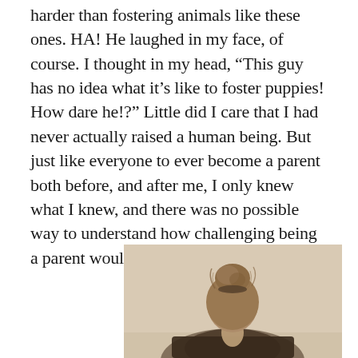harder than fostering animals like these ones. HA! He laughed in my face, of course. I thought in my head, “This guy has no idea what it’s like to foster puppies! How dare he!?” Little did I care that I had never actually raised a human being. But just like everyone to ever become a parent both before, and after me, I only knew what I knew, and there was no possible way to understand how challenging being a parent would be.
[Figure (photo): Sepia-toned photograph of a woman seen from behind with hair in a messy bun/updo, wearing dark clothing, against a warm beige/cream background.]